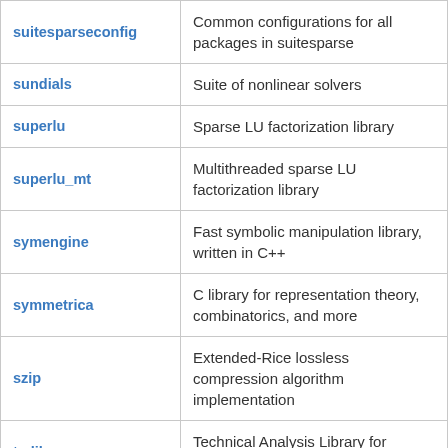| Package | Description |
| --- | --- |
| suitesparseconfig | Common configurations for all packages in suitesparse |
| sundials | Suite of nonlinear solvers |
| superlu | Sparse LU factorization library |
| superlu_mt | Multithreaded sparse LU factorization library |
| symengine | Fast symbolic manipulation library, written in C++ |
| symmetrica | C library for representation theory, combinatorics, and more |
| szip | Extended-Rice lossless compression algorithm implementation |
| ta-lib | Technical Analysis Library for analyzing financial markets trends |